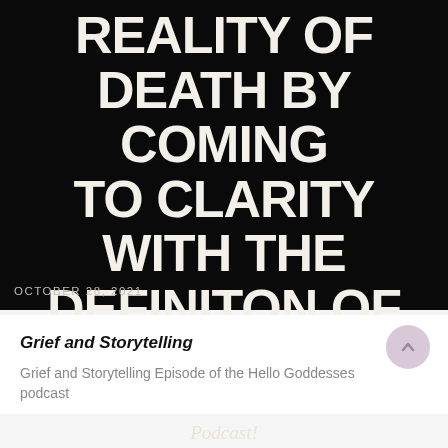[Figure (illustration): Black background promotional image for a podcast episode. Large white bold uppercase text reads: REALITY OF DEATH BY COMING TO CLARITY WITH THE DEFINITON OF LIFE. Below that in cursive/italic script: Hello Goddesses Podcast! Date at bottom left: OCTOBER 28, 2021.]
Grief and Storytelling
Grief and Storytelling Episode of the Hello Goddesses podcast